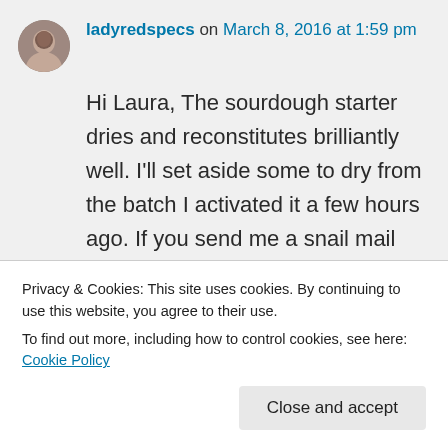ladyredspecs on March 8, 2016 at 1:59 pm
Hi Laura, The sourdough starter dries and reconstitutes brilliantly well. I'll set aside some to dry from the batch I activated it a few hours ago. If you send me a snail mail address, click my avatar for my email, I should have it winging your
Privacy & Cookies: This site uses cookies. By continuing to use this website, you agree to their use.
To find out more, including how to control cookies, see here: Cookie Policy
Close and accept